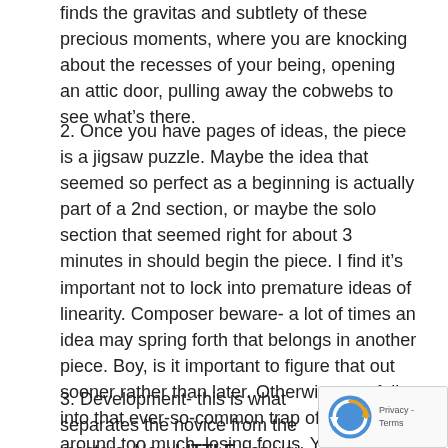finds the gravitas and subtlety of these precious moments, where you are knocking about the recesses of your being, opening an attic door, pulling away the cobwebs to see what's there.
2. Once you have pages of ideas, the piece is a jigsaw puzzle. Maybe the idea that seemed so perfect as a beginning is actually part of a 2nd section, or maybe the solo section that seemed right for about 3 minutes in should begin the piece. I find it's important not to lock into premature ideas of linearity. Composer beware- a lot of times an idea may spring forth that belongs in another piece. Boy, is it important to figure that out sooner rather than later. Otherwise you fall into that ever-so-common trap of jumping around too much, losing focus. You might quickly find, also, that what seemed a precious idea is actually mundane.
3. Development- this is what separates the novice from the masters. How LITTLE can you use, and how MUCH can you make of it. Almost all drama and form